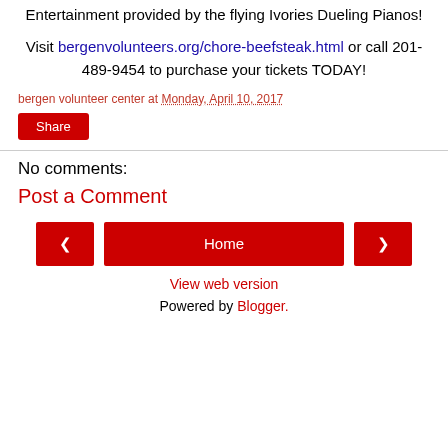Entertainment provided by the Flying Ivories Dueling Pianos!
Visit bergenvolunteers.org/chore-beefsteak.html or call 201-489-9454 to purchase your tickets TODAY!
bergen volunteer center at Monday, April 10, 2017
Share
No comments:
Post a Comment
‹ Home › View web version Powered by Blogger.